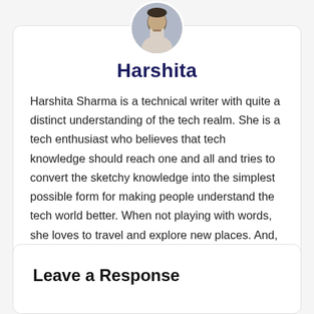[Figure (photo): Circular profile photo of Harshita Sharma]
Harshita
Harshita Sharma is a technical writer with quite a distinct understanding of the tech realm. She is a tech enthusiast who believes that tech knowledge should reach one and all and tries to convert the sketchy knowledge into the simplest possible form for making people understand the tech world better. When not playing with words, she loves to travel and explore new places. And, is a coffee & cricket connoisseur.
Leave a Response